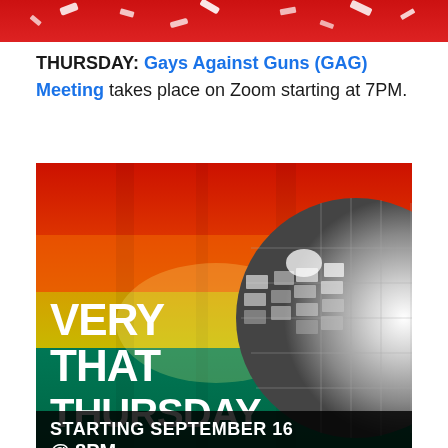[Figure (photo): Partial red image at top of page (cropped)]
THURSDAY: Gays Against Guns (GAG) Meeting takes place on Zoom starting at 7PM.
[Figure (photo): Event poster with rainbow pride flag background and disco ball. Text reads: VERY THAT THURSDAY. STARTING SEPTEMBER 16 @ 8PM]